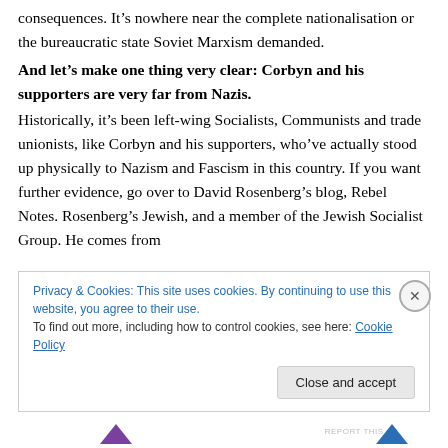consequences. It's nowhere near the complete nationalisation or the bureaucratic state Soviet Marxism demanded.
And let's make one thing very clear: Corbyn and his supporters are very far from Nazis.
Historically, it's been left-wing Socialists, Communists and trade unionists, like Corbyn and his supporters, who've actually stood up physically to Nazism and Fascism in this country. If you want further evidence, go over to David Rosenberg's blog, Rebel Notes. Rosenberg's Jewish, and a member of the Jewish Socialist Group. He comes from
Privacy & Cookies: This site uses cookies. By continuing to use this website, you agree to their use.
To find out more, including how to control cookies, see here: Cookie Policy
Close and accept